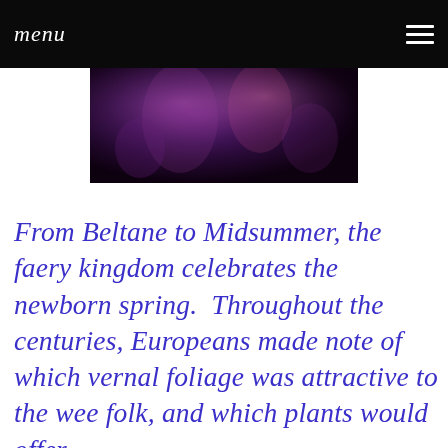Menu
[Figure (photo): Dark fantasy/fairy themed image with purple and dark tones, partially visible at top of page]
From Beltane to Midsummer, the faery kingdom celebrates the newborn spring.  Throughout the centuries, Europeans made note of which vernal foliage was attractive to the wee folk, and which plants would offer